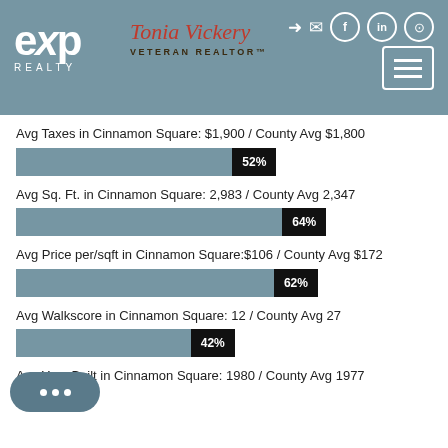eXp Realty — Tonia Vickery VETERAN REALTOR
Avg Taxes in Cinnamon Square: $1,900 / County Avg $1,800
[Figure (bar-chart): Avg Taxes percentage]
Avg Sq. Ft. in Cinnamon Square: 2,983 / County Avg 2,347
[Figure (bar-chart): Avg Sq Ft percentage]
Avg Price per/sqft in Cinnamon Square:$106 / County Avg $172
[Figure (bar-chart): Avg Price per sqft percentage]
Avg Walkscore in Cinnamon Square: 12 / County Avg 27
[Figure (bar-chart): Avg Walkscore percentage]
Avg Year Built in Cinnamon Square: 1980 / County Avg 1977